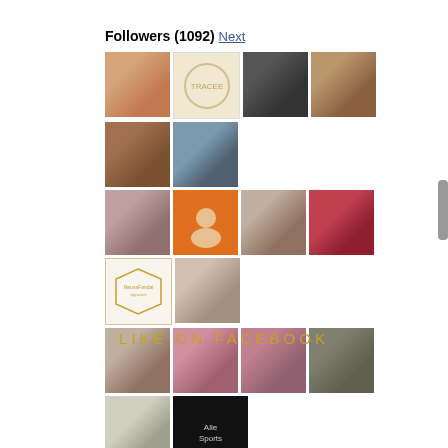Followers (1092) Next
[Figure (illustration): Grid of 21 follower profile photo thumbnails arranged in 4 rows]
Follow
LIKE ON FACEBOOK